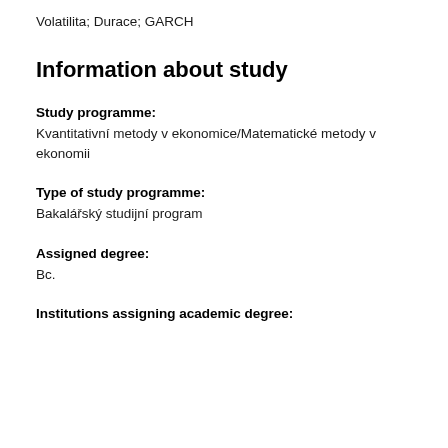Volatilita; Durace; GARCH
Information about study
Study programme:
Kvantitativní metody v ekonomice/Matematické metody v ekonomii
Type of study programme:
Bakalářský studijní program
Assigned degree:
Bc.
Institutions assigning academic degree: